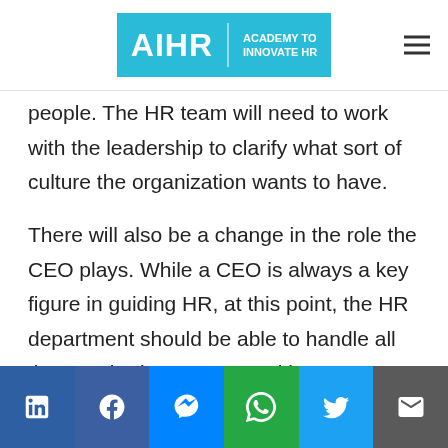[Figure (logo): AIHR Academy to Innovate HR logo in cyan/teal background with white text]
people. The HR team will need to work with the leadership to clarify what sort of culture the organization wants to have.
There will also be a change in the role the CEO plays. While a CEO is always a key figure in guiding HR, at this point, the HR department should be able to handle all the standard HR matters without any significant involvement from the CEO. It's clear now, if
[Figure (infographic): Social share bar with LinkedIn, Facebook, Messenger, WhatsApp, Twitter, and Email buttons]